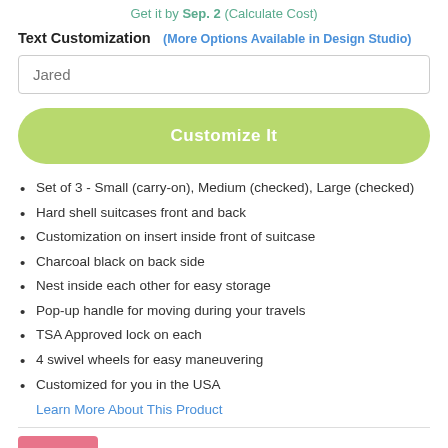Get it by Sep. 2 (Calculate Cost)
Text Customization  (More Options Available in Design Studio)
Jared
Customize It
Set of 3 - Small (carry-on), Medium (checked), Large (checked)
Hard shell suitcases front and back
Customization on insert inside front of suitcase
Charcoal black on back side
Nest inside each other for easy storage
Pop-up handle for moving during your travels
TSA Approved lock on each
4 swivel wheels for easy maneuvering
Customized for you in the USA
Learn More About This Product